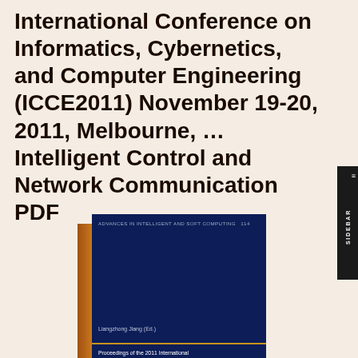International Conference on Informatics, Cybernetics, and Computer Engineering (ICCE2011) November 19-20, 2011, Melbourne, … Intelligent Control and Network Communication PDF
[Figure (illustration): Book cover of the proceedings volume from the 2011 International Conference on Informatics, Cybernetics, and Computer Engineering. Dark navy blue cover with the series title 'Advances in Intelligent and Soft Computing 114' at the top, editor 'Liangzhong Jiang (Ed.)' and subtitle 'Proceedings of the 2011 International' at the bottom. Orange/brown spine visible on the left side.]